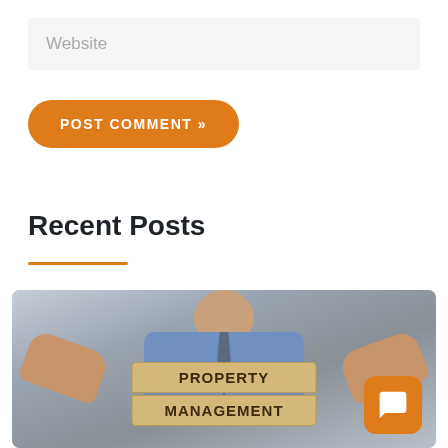Website
POST COMMENT »
Recent Posts
[Figure (photo): A man in a blue shirt and tie holding two wooden blocks that read 'PROPERTY MANAGEMENT']